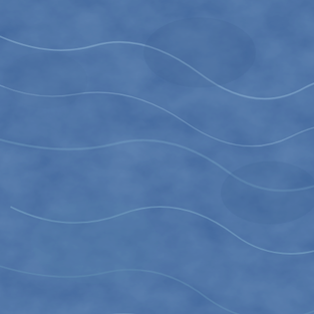[Figure (photo): Blue marble/stone texture background on the left panel]
Acrvlic Column with Base Accent Color Colored Acrylic Awards $253.05 - $337.40
Award Colored Acrylic Awards $303.30 - $5...
[Figure (photo): Product photo: two overlapping triangles in red and blue/silver acrylic]
Painted Bottom Triangle Acrvlic Award Colored Acrylic Awards $26.27 - $39.81
[Figure (photo): Product photo: round dark acrylic paperweight with MINOLTA logo]
Paper Weight Acrvlic Award Colored Acrylic Awards $22.64 - $2...
Go to Page
Stay Connected:
[Figure (logo): Facebook logo icon (blue f)]
Become a fan on Facebook
C & T Specialties
9255 Survey Road Elk Grove, CA 95624
Phone: (916) 685-4246 Fax: (916) 686-8844